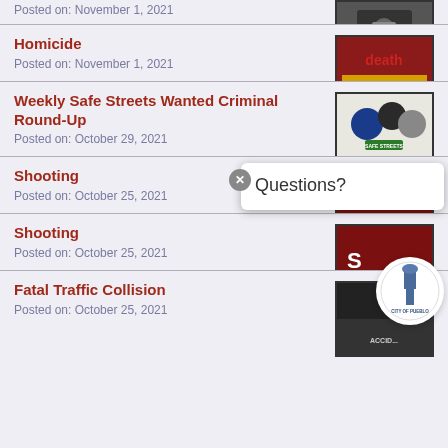Posted on: November 1, 2021
[Figure (photo): Thumbnail image at top (partially visible)]
Homicide
Posted on: November 1, 2021
[Figure (photo): Death Investigation image with yellow crime scene tape]
Weekly Safe Streets Wanted Criminal Round-Up
Posted on: October 29, 2021
[Figure (photo): Safe Streets badge logos image]
Shooting
Posted on: October 25, 2021
[Figure (photo): Shooting crime scene image]
Shooting
Posted on: October 25, 2021
[Figure (photo): Second shooting image partially covered by popup]
Fatal Traffic Collision
Posted on: October 25, 2021
[Figure (photo): Fatal accident image partially covered by city logo]